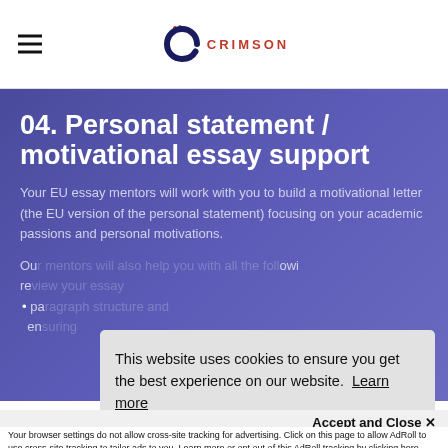Crimson Education logo and hamburger menu
04. Personal statement / motivational essay support
Your EU essay mentors will work with you to build a motivational letter (the EU version of the personal statement) focusing on your academic passions and personal motivations.
Our [partially obscured text] re [...] pa [...] en [...]
This website uses cookies to ensure you get the best experience on our website. Learn more
Accept and Close ✕
Your browser settings do not allow cross-site tracking for advertising. Click on this page to allow AdRoll to use cross-site tracking to tailor ads to you. Learn more or opt out of this AdRoll tracking by clicking here. This message only appears once.